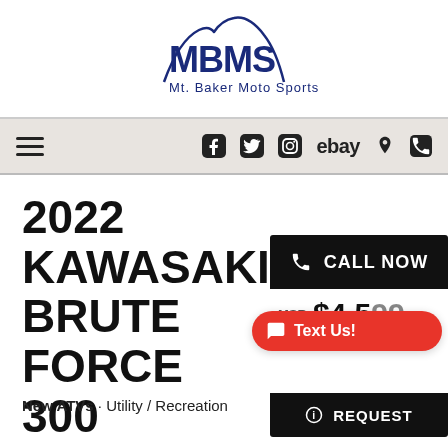[Figure (logo): MBMS Mt. Baker Moto Sports logo with mountain silhouette in blue]
≡  f  Twitter  Instagram  ebay  location  phone
2022 KAWASAKI BRUTE FORCE 300
New ATVs · Utility / Recreation
CALL NOW
MSRP $4,599
Text Us!
REQUEST